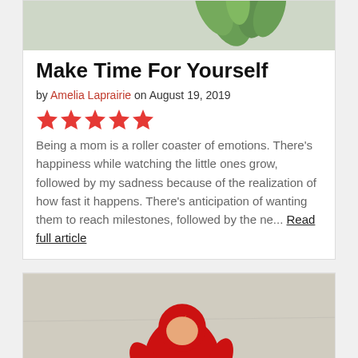[Figure (photo): Top portion of a photo showing green plant leaves against a light background]
Make Time For Yourself
by Amelia Laprairie on August 19, 2019
[Figure (other): Five red star rating symbols]
Being a mom is a roller coaster of emotions. There's happiness while watching the little ones grow, followed by my sadness because of the realization of how fast it happens. There's anticipation of wanting them to reach milestones, followed by the ne... Read full article
[Figure (photo): Child dressed in a red and yellow superhero (Flash) costume riding or pushing a yellow toy on a concrete surface]